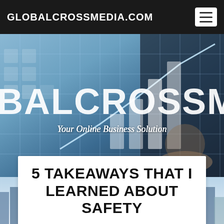GLOBALCROSSMEDIA.COM
[Figure (screenshot): Hero banner for GlobalCrossMedia.com website showing large white text 'BALCROSSMEDIA.C' (partially visible) overlaid on a dark blue business-themed background with grid lines and a glowing bar chart, with a hand reaching up. Tagline: 'Your Online Business Solution']
[Figure (photo): City skyline background strip behind article card, showing modern buildings in blue-tinted light]
5 TAKEAWAYS THAT I LEARNED ABOUT SAFETY